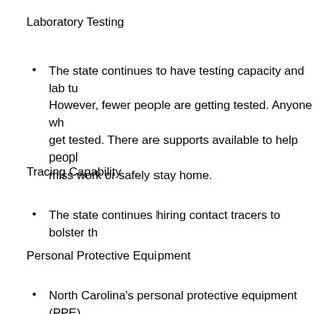Laboratory Testing
The state continues to have testing capacity and lab turnaround. However, fewer people are getting tested. Anyone who needs to get tested. There are supports available to help people who miss work or safely stay home.
Tracing Capability
The state continues hiring contact tracers to bolster the…
Personal Protective Equipment
North Carolina's personal protective equipment (PPE)…
Phase 2.5 means the following for North Carolina:
Mass gathering limits will increase to 25 people indoors…